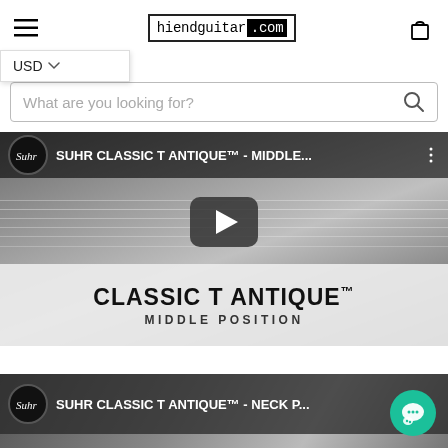hiendguitar.com
USD
What are you looking for?
[Figure (screenshot): YouTube video thumbnail for SUHR CLASSIC T ANTIQUE - MIDDLE POSITION showing a close-up of an electric guitar neck and pickups in grayscale, with a play button in the center. Below the video area is a white/gray band with the text CLASSIC T ANTIQUE MIDDLE POSITION]
[Figure (screenshot): Partial YouTube video thumbnail for SUHR CLASSIC T ANTIQUE - NECK P... showing the beginning of a second video]